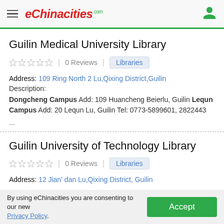eChinacities.com
Guilin Medical University Library
0 Reviews | Libraries
Address: 109 Ring North 2 Lu,Qixing District,Guilin
Description:
Dongcheng Campus Add: 109 Huancheng Beierlu, Guilin Lequn Campus Add: 20 Lequn Lu, Guilin Tel: 0773-5899601, 2822443
...
Guilin University of Technology Library
0 Reviews | Libraries
Address: 12 Jian' dan Lu,Qixing District, Guilin
By using eChinacities you are consenting to our new Privacy Policy.